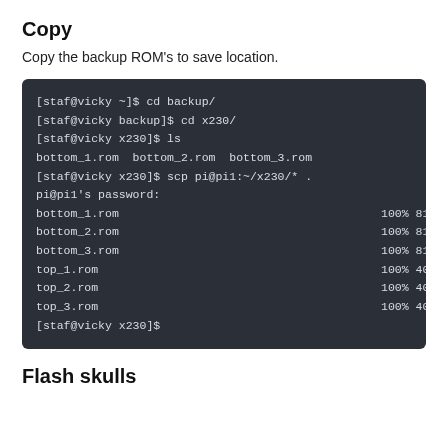Copy
Copy the backup ROM's to save location.
[Figure (screenshot): Terminal screenshot showing commands: cd backup/, cd x230/, ls, scp pi@pi1:~/x230/* . with output showing bottom_1.rom, bottom_2.rom, bottom_3.rom, top_1.rom, top_2.rom, top_3.rom each at 100% with sizes 8192K or 4096K]
Flash skulls